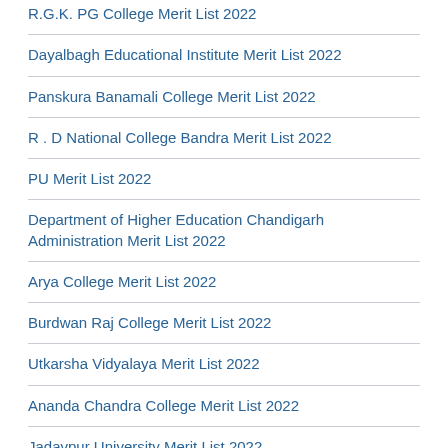R.G.K. PG College Merit List 2022
Dayalbagh Educational Institute Merit List 2022
Panskura Banamali College Merit List 2022
R . D National College Bandra Merit List 2022
PU Merit List 2022
Department of Higher Education Chandigarh Administration Merit List 2022
Arya College Merit List 2022
Burdwan Raj College Merit List 2022
Utkarsha Vidyalaya Merit List 2022
Ananda Chandra College Merit List 2022
Jadavpur University Merit List 2022
Maharshi Dayanand University Rohtak Merit List 2022
Rampurhat College Merit List 2022
B. P Baria Science Institute Merit List 2022
Gangadhar Meher University Merit List 2022